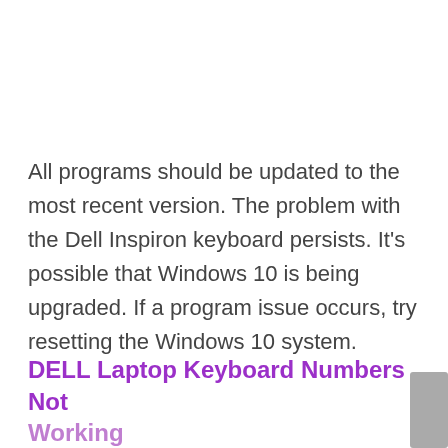All programs should be updated to the most recent version. The problem with the Dell Inspiron keyboard persists. It's possible that Windows 10 is being upgraded. If a program issue occurs, try resetting the Windows 10 system.
DELL Laptop Keyboard Numbers Not Working